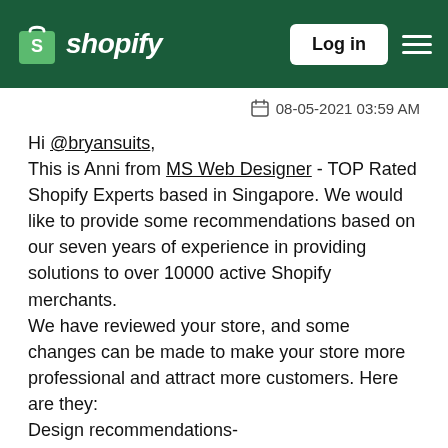Shopify — Log in
08-05-2021 03:59 AM
Hi @bryansuits,
This is Anni from MS Web Designer - TOP Rated Shopify Experts based in Singapore. We would like to provide some recommendations based on our seven years of experience in providing solutions to over 10000 active Shopify merchants.
We have reviewed your store, and some changes can be made to make your store more professional and attract more customers. Here are they:
Design recommendations-
The home page:
1.The navigation menu should be properly aligned in one row.